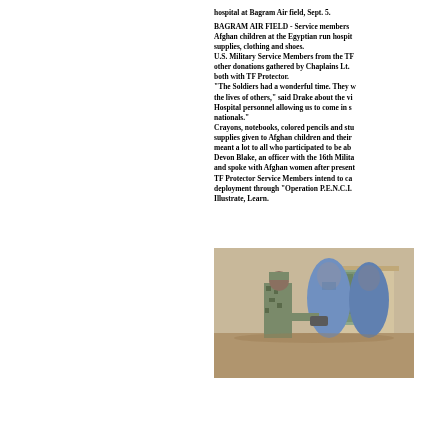hospital at Bagram Air field, Sept. 5.
BAGRAM AIR FIELD - Service members visited Afghan children at the Egyptian run hospital with supplies, clothing and shoes. U.S. Military Service Members from the TF brought other donations gathered by Chaplains Lt. both with TF Protector. "The Soldiers had a wonderful time. They the lives of others," said Drake about the visit. Hospital personnel allowing us to come in s nationals." Crayons, notebooks, colored pencils and supplies given to Afghan children and their meant a lot to all who participated to be ab Devon Blake, an officer with the 16th Milit and spoke with Afghan women after present TF Protector Service Members intend to ca deployment through "Operation P.E.N.C.I. Illustrate, Learn.
[Figure (photo): A U.S. military service member in camouflage uniform handing items to Afghan women wearing blue burqas, outdoors near a building.]